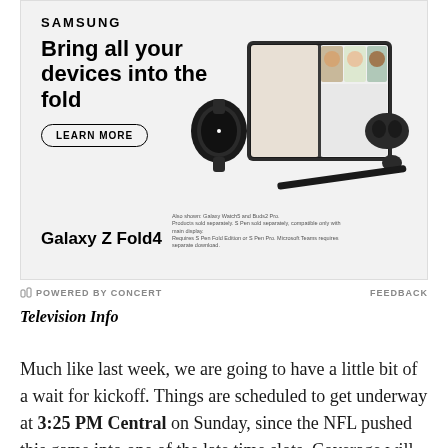[Figure (infographic): Samsung Galaxy Z Fold4 advertisement showing the phone open displaying a video call with three people, alongside a Galaxy Watch and Galaxy Buds Pro. Text reads 'SAMSUNG', 'Bring all your devices into the fold', 'LEARN MORE' button, 'Galaxy Z Fold4', fine print about accessories and S Pen.]
POWERED BY CONCERT   FEEDBACK
Television Info
Much like last week, we are going to have a little bit of a wait for kickoff. Things are scheduled to get underway at 3:25 PM Central on Sunday, since the NFL pushed this game into one of the late time slots. Coverage will be handled by FOX, which means KMSP-9 in the Twin Cities area. If you're outside of the